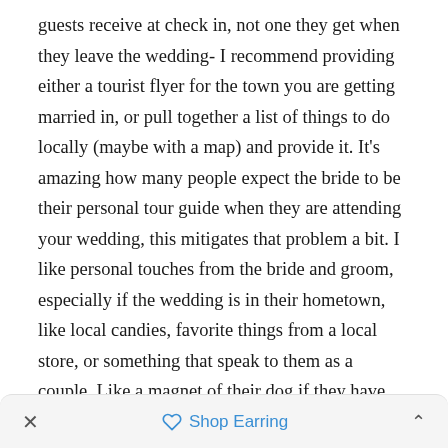guests receive at check in, not one they get when they leave the wedding- I recommend providing either a tourist flyer for the town you are getting married in, or pull together a list of things to do locally (maybe with a map) and provide it. It's amazing how many people expect the bride to be their personal tour guide when they are attending your wedding, this mitigates that problem a bit. I like personal touches from the bride and groom, especially if the wedding is in their hometown, like local candies, favorite things from a local store, or something that speak to them as a couple. Like a magnet of their dog if they have one, something like that. It makes me think about the couple and get excited to celebrate them. I also think a note from the bride and groom thanking the guests for coming is really sweet. (Not a how we met bio- we read your wedding website, and jeez this isn't the bachelor, if we are at your
× Shop Earring ^